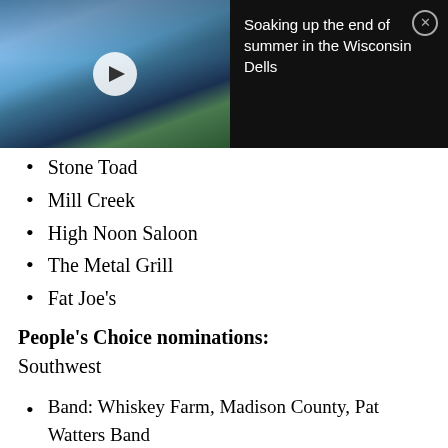[Figure (screenshot): Video thumbnail of a water park (Wisconsin Dells) with a play button overlay, next to a dark panel with text 'Soaking up the end of summer in the Wisconsin Dells' and a close button]
Stone Toad
Mill Creek
High Noon Saloon
The Metal Grill
Fat Joe's
People's Choice nominations:
Southwest
Band: Whiskey Farm, Madison County, Pat Watters Band